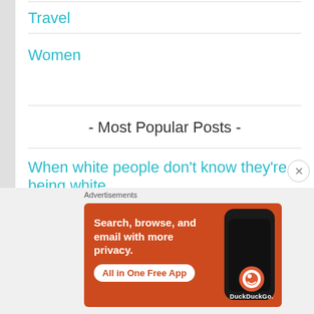Travel
Women
- Most Popular Posts -
When white people don't know they're being white
Iceberg Concept of Culture
[partial link cut off]
Advertisements
[Figure (screenshot): DuckDuckGo advertisement banner with orange background. Text reads: 'Search, browse, and email with more privacy. All in One Free App' with DuckDuckGo logo and phone image.]